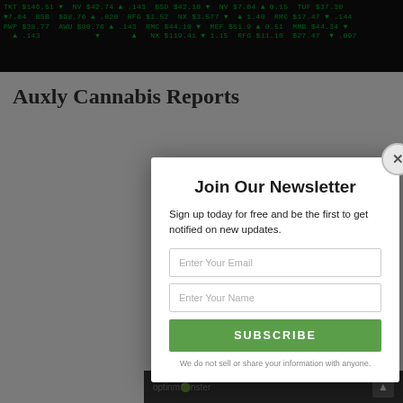[Figure (screenshot): Stock market ticker board background image showing green financial ticker data on dark background]
Auxly Cannabis Reports
Join Our Newsletter
Sign up today for free and be the first to get notified on new updates.
Enter Your Email
Enter Your Name
SUBSCRIBE
We do not sell or share your information with anyone.